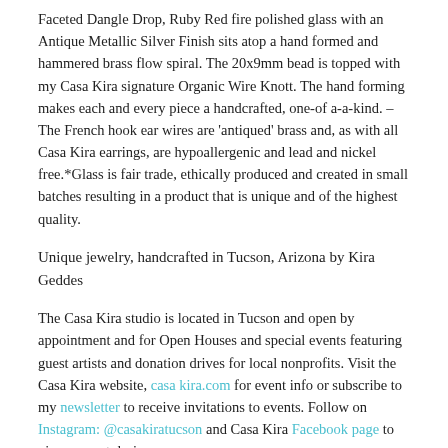Faceted Dangle Drop, Ruby Red fire polished glass with an Antique Metallic Silver Finish sits atop a hand formed and hammered brass flow spiral. The 20x9mm bead is topped with my Casa Kira signature Organic Wire Knott. The hand forming makes each and every piece a handcrafted, one-of a-a-kind. – The French hook ear wires are 'antiqued' brass and, as with all Casa Kira earrings, are hypoallergenic and lead and nickel free.*Glass is fair trade, ethically produced and created in small batches resulting in a product that is unique and of the highest quality.
Unique jewelry, handcrafted in Tucson, Arizona by Kira Geddes
The Casa Kira studio is located in Tucson and open by appointment and for Open Houses and special events featuring guest artists and donation drives for local nonprofits. Visit the Casa Kira website, casakira.com for event info or subscribe to my newsletter to receive invitations to events. Follow on Instagram: @casakiratucson and Casa Kira Facebook page to view newest designs.